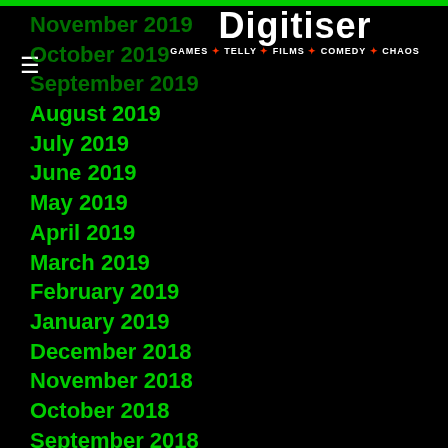[Figure (logo): Digitiser logo with tagline GAMES + TELLY + FILMS + COMEDY + CHAOS]
November 2019
October 2019
September 2019
August 2019
July 2019
June 2019
May 2019
April 2019
March 2019
February 2019
January 2019
December 2018
November 2018
October 2018
September 2018
August 2018
July 2018